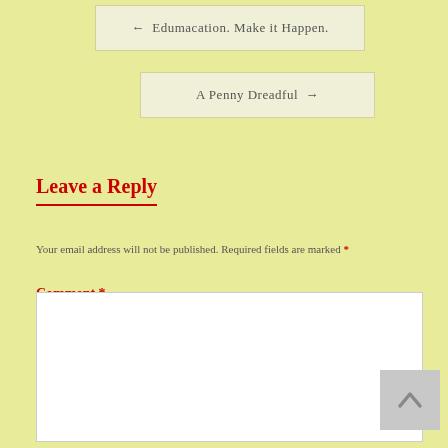← Edumacation. Make it Happen.
A Penny Dreadful →
Leave a Reply
Your email address will not be published. Required fields are marked *
Comment *
[Figure (other): Scroll to top button with upward chevron arrow]